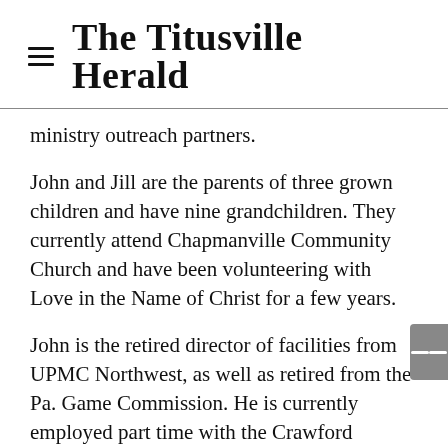The Titusville Herald
ministry outreach partners.
John and Jill are the parents of three grown children and have nine grandchildren. They currently attend Chapmanville Community Church and have been volunteering with Love in the Name of Christ for a few years.
John is the retired director of facilities from UPMC Northwest, as well as retired from the Pa. Game Commission. He is currently employed part time with the Crawford County Sheriff’s Department. Jill is the retired auxiliary/volunteer service director from UPMC Northwest, and the